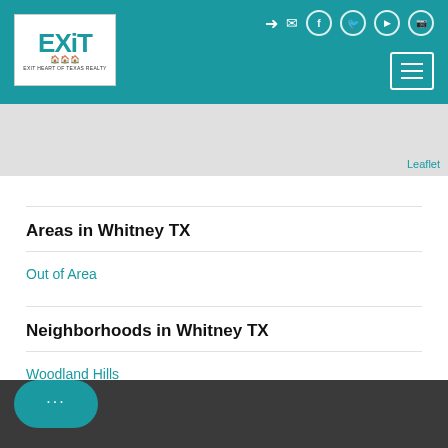[Figure (logo): EXIT Heart of Texas Realty logo - teal and black text on white background]
[Figure (screenshot): Map area showing geographic region (Leaflet map) with gray background]
Leaflet
Areas in Whitney TX
Out of Area
Neighborhoods in Whitney TX
Woodland Hills